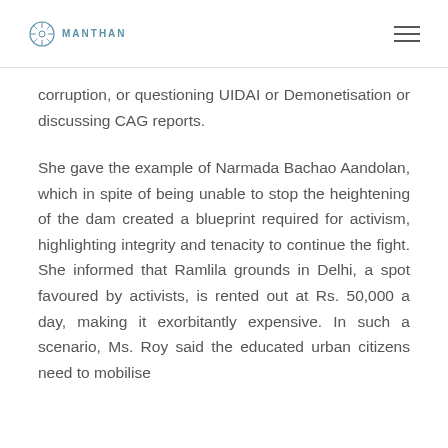MANTHAN
corruption, or questioning UIDAI or Demonetisation or discussing CAG reports.
She gave the example of Narmada Bachao Aandolan, which in spite of being unable to stop the heightening of the dam created a blueprint required for activism, highlighting integrity and tenacity to continue the fight. She informed that Ramlila grounds in Delhi, a spot favoured by activists, is rented out at Rs. 50,000 a day, making it exorbitantly expensive. In such a scenario, Ms. Roy said the educated urban citizens need to mobilise